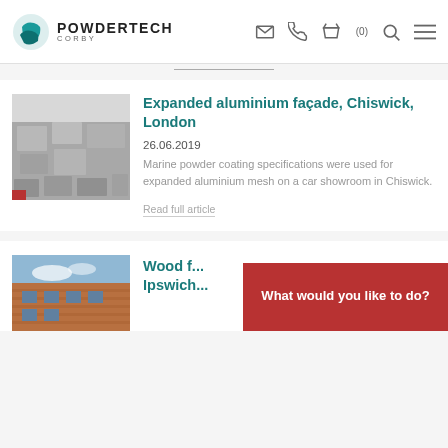POWDERTECH CORBY
[Figure (photo): Expanded aluminium facade panels on a car showroom building in Chiswick, London]
Expanded aluminium façade, Chiswick, London
26.06.2019
Marine powder coating specifications were used for expanded aluminium mesh on a car showroom in Chiswick.
Read full article
[Figure (photo): Wood finish building exterior in Ipswich]
Wood f... Ipswich...
What would you like to do?